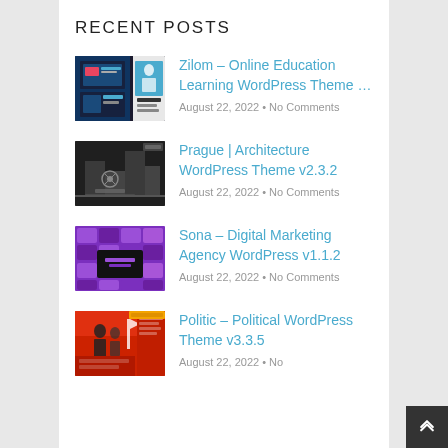RECENT POSTS
Zilom – Online Education Learning WordPress Theme …
August 22, 2022 • No Comments
Prague | Architecture WordPress Theme v2.3.2
August 22, 2022 • No Comments
Sona – Digital Marketing Agency WordPress v1.1.2
August 22, 2022 • No Comments
Politic – Political WordPress Theme v3.3.5
August 22, 2022 • No